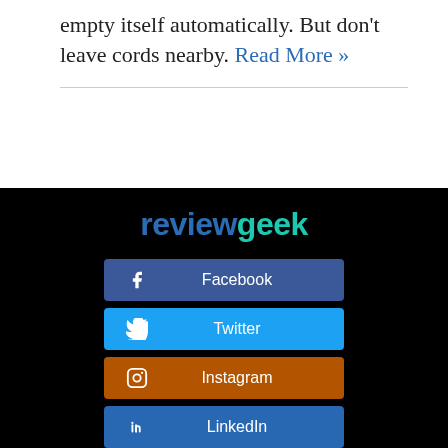empty itself automatically. But don't leave cords nearby. Read More »
[Figure (logo): reviewgeek logo — 'review' in dark blue bold, 'geek' in teal/cyan bold]
Facebook
Twitter
Instagram
LinkedIn
RSS Feed